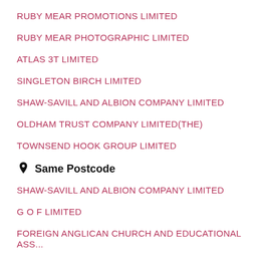RUBY MEAR PROMOTIONS LIMITED
RUBY MEAR PHOTOGRAPHIC LIMITED
ATLAS 3T LIMITED
SINGLETON BIRCH LIMITED
SHAW-SAVILL AND ALBION COMPANY LIMITED
OLDHAM TRUST COMPANY LIMITED(THE)
TOWNSEND HOOK GROUP LIMITED
Same Postcode
SHAW-SAVILL AND ALBION COMPANY LIMITED
G O F LIMITED
FOREIGN ANGLICAN CHURCH AND EDUCATIONAL ASS...